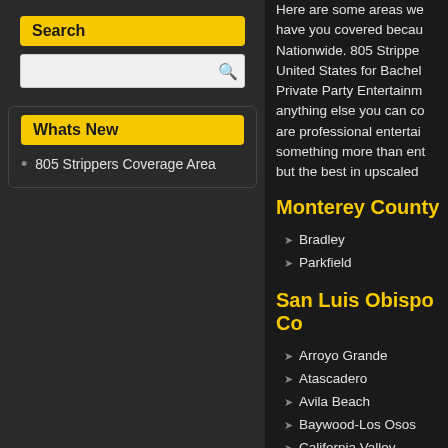Search
Whats New
805 Strippers Coverage Area
Here are some areas we have you covered because Nationwide. 805 Strippers United States for Bachelor Party Private Party Entertainment anything else you can consider are professional entertainers something more than entertainment but the best in upscaled
Monterey County
Bradley
Parkfield
San Luis Obispo Co
Arroyo Grande
Atascadero
Avila Beach
Baywood-Los Osos
California Valley
Cambria